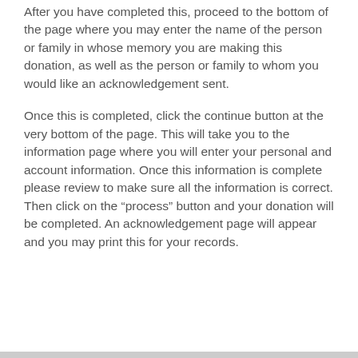After you have completed this, proceed to the bottom of the page where you may enter the name of the person or family in whose memory you are making this donation, as well as the person or family to whom you would like an acknowledgement sent.
Once this is completed, click the continue button at the very bottom of the page. This will take you to the information page where you will enter your personal and account information. Once this information is complete please review to make sure all the information is correct. Then click on the “process” button and your donation will be completed. An acknowledgement page will appear and you may print this for your records.